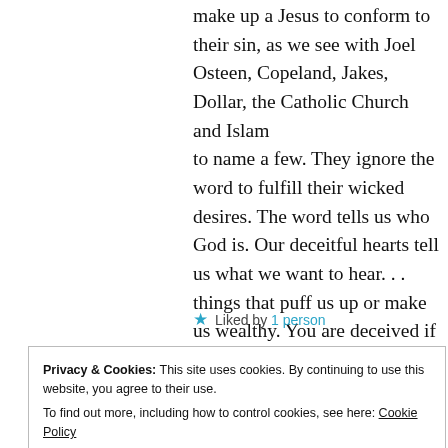make up a Jesus to conform to their sin, as we see with Joel Osteen, Copeland, Jakes, Dollar, the Catholic Church and Islam
to name a few. They ignore the word to fulfill their wicked desires. The word tells us who God is. Our deceitful hearts tell us what we want to hear. . . things that puff us up or make us wealthy. You are deceived if you believe anything else.
★ Liked by 1 person
Privacy & Cookies: This site uses cookies. By continuing to use this website, you agree to their use.
To find out more, including how to control cookies, see here: Cookie Policy
Close and accept